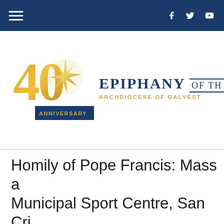Navigation bar with hamburger menu and social media icons (Facebook, Twitter, YouTube)
[Figure (logo): Epiphany of the Lord 40th Anniversary logo — '40 ANNIVERSARY' in gold with a gold star, beside 'EPIPHANY OF THE LORD' in dark navy and 'ARCHDIOCESE OF GALVESTON-HOUSTON' in gold]
Homily of Pope Francis: Mass at the Municipal Sport Centre, San Cristóbal de las Casas